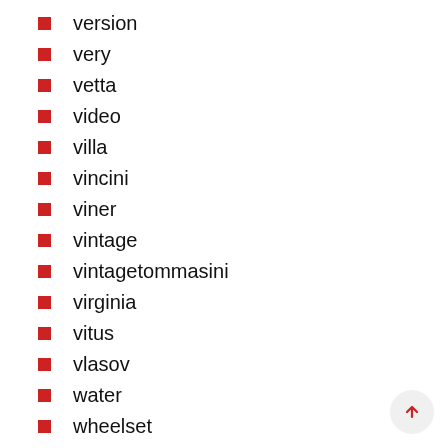version
very
vetta
video
villa
vincini
viner
vintage
vintagetommasini
virginia
vitus
vlasov
water
wheelset
wilier
works